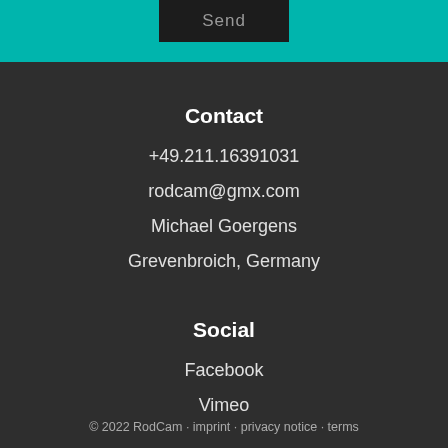[Figure (other): Teal/turquoise header bar with a dark Send button partially visible at top]
Contact
+49.211.16391031
rodcam@gmx.com
Michael Goergens
Grevenbroich, Germany
Social
Facebook
Vimeo
© 2022 RodCam · imprint · privacy notice · terms